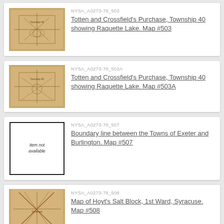[Figure (other): Thumbnail of historical map - Totten and Crossfield's Purchase Township 40 showing Raquette Lake Map 503]
NYSA_A0273-78_503
Totten and Crossfield's Purchase, Township 40 showing Raquette Lake. Map #503
[Figure (other): Thumbnail of historical map - Totten and Crossfield's Purchase Township 40 showing Raquette Lake Map 503A]
NYSA_A0273-78_503A
Totten and Crossfield's Purchase, Township 40 showing Raquette Lake. Map #503A
[Figure (other): Item not available placeholder image]
NYSA_A0273-78_507
Boundary line between the Towns of Exeter and Burlington. Map #507
[Figure (other): Thumbnail of historical map - Map of Hoyt's Salt Block 1st Ward Syracuse Map 508]
NYSA_A0273-78_508
Map of Hoyt's Salt Block, 1st Ward, Syracuse. Map #508